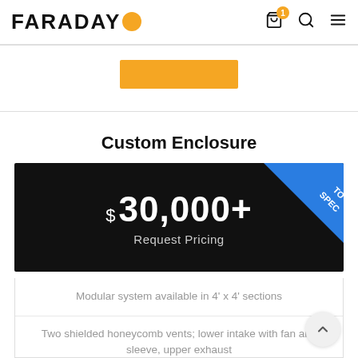FARADAY — navigation header with cart, search, and menu icons
[Figure (screenshot): Orange button partially visible at top of content area]
Custom Enclosure
[Figure (infographic): Black price banner showing $ 30,000+ with 'Request Pricing' subtitle and 'TO SPEC' blue ribbon in top-right corner]
Modular system available in 4' x 4' sections
Two shielded honeycomb vents; lower intake with fan and sleeve, upper exhaust